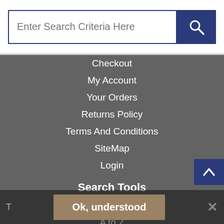[Figure (screenshot): Search input field with placeholder text 'Enter Search Criteria Here' and a dark blue search button with a magnifying glass icon]
Checkout
My Account
Your Orders
Returns Policy
Terms And Conditions
SiteMap
Login
Search Tools
Advanced Search
A to Z
All Categories
Contact Us
Ok, understood